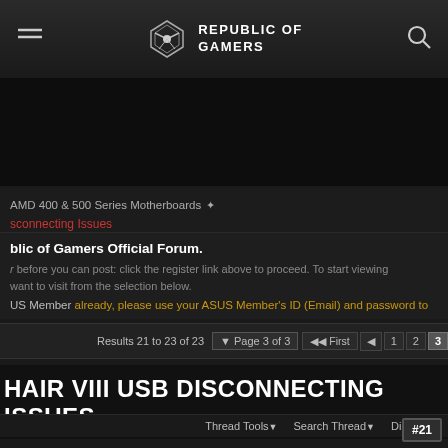REPUBLIC OF GAMERS
AMD 400 & 500 Series Motherboards
sconnecting Issues
blic of Gamers Official Forum.
r before you can post: click the register link above to proceed. To start viewing want to visit from the selection below.
US Member already, please use your ASUS Member's ID (Email) and password to
Results 21 to 23 of 23   Page 3 of 3   First  1  2  3
HAIR VIII USB DISCONNECTING ISSUES
Thread Tools  Search Thread  Display
#21